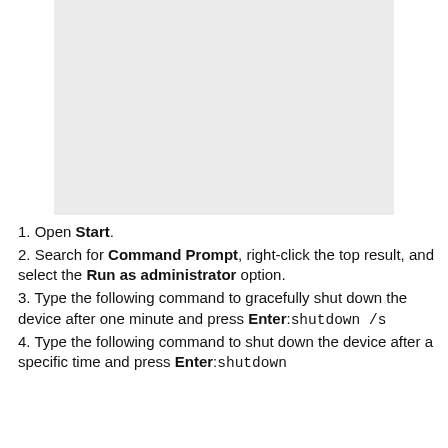[Figure (screenshot): A grey placeholder screenshot/image area at the top of the page]
1. Open Start.
2. Search for Command Prompt, right-click the top result, and select the Run as administrator option.
3. Type the following command to gracefully shut down the device after one minute and press Enter:shutdown /s
4. Type the following command to shut down the device after a specific time and press Enter:shutdown